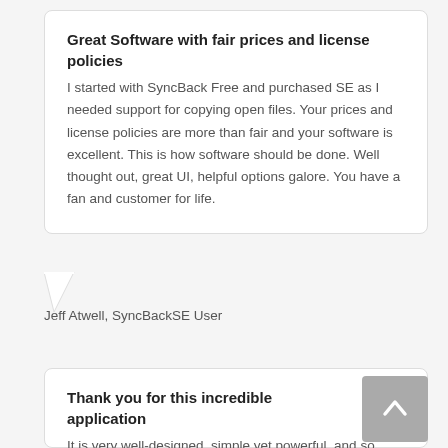Great Software with fair prices and license policies
I started with SyncBack Free and purchased SE as I needed support for copying open files. Your prices and license policies are more than fair and your software is excellent. This is how software should be done. Well thought out, great UI, helpful options galore. You have a fan and customer for life.
Jeff Atwell, SyncBackSE User
Thank you for this incredible application
It is very well-designed, simple yet powerful, and so well-priced. It's an example of excellent software development. Bravo!